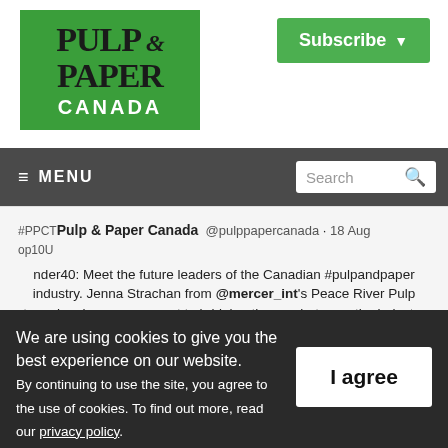[Figure (logo): Pulp & Paper Canada logo — green background with serif black text 'PULP & PAPER' and white sans-serif 'CANADA']
[Figure (other): Green 'Subscribe' button with dropdown arrow in top right]
≡ MENU   Search 🔍
#PPCTop10U Pulp & Paper Canada @pulppapercanada · 18 Aug nder40: Meet the future leaders of the Canadian #pulpandpaper industry. Jenna Strachan from @mercer_int's Peace River Pulp team has been paramount to bridging the gap between the industry and the Indigenous community. https://www.pulpandpapercanada.com/pulp-and-papers-future-le
We are using cookies to give you the best experience on our website.
By continuing to use the site, you agree to the use of cookies. To find out more, read our privacy policy.